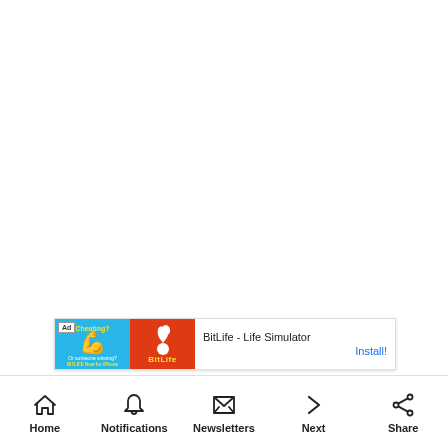[Figure (screenshot): Advertisement banner for BitLife - Life Simulator app. Left side shows blue background with 'Cheating?' text and arm/muscle emoji, 'Ad' badge. Right side shows red background with sperm icon and 'BITLIFE' logo text. Text area shows 'BitLife - Life Simulator' with 'Install!' link in blue.]
Home   Notifications   Newsletters   Next   Share